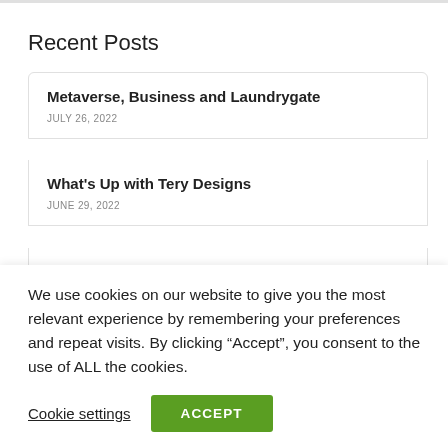Recent Posts
Metaverse, Business and Laundrygate
JULY 26, 2022
What's Up with Tery Designs
JUNE 29, 2022
Has Artificial Intelligence Become Sentient?
JUNE 21, 2022
We use cookies on our website to give you the most relevant experience by remembering your preferences and repeat visits. By clicking “Accept”, you consent to the use of ALL the cookies.
Cookie settings   ACCEPT